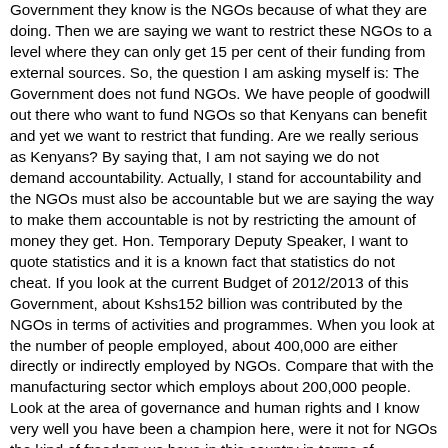Government they know is the NGOs because of what they are doing. Then we are saying we want to restrict these NGOs to a level where they can only get 15 per cent of their funding from external sources. So, the question I am asking myself is: The Government does not fund NGOs. We have people of goodwill out there who want to fund NGOs so that Kenyans can benefit and yet we want to restrict that funding. Are we really serious as Kenyans? By saying that, I am not saying we do not demand accountability. Actually, I stand for accountability and the NGOs must also be accountable but we are saying the way to make them accountable is not by restricting the amount of money they get. Hon. Temporary Deputy Speaker, I want to quote statistics and it is a known fact that statistics do not cheat. If you look at the current Budget of 2012/2013 of this Government, about Kshs152 billion was contributed by the NGOs in terms of activities and programmes. When you look at the number of people employed, about 400,000 are either directly or indirectly employed by NGOs. Compare that with the manufacturing sector which employs about 200,000 people. Look at the area of governance and human rights and I know very well you have been a champion here, were it not for NGOs the kind of freedom we have in this country in terms of governance and human rights issues we would have been far behind. So, this is a sector which